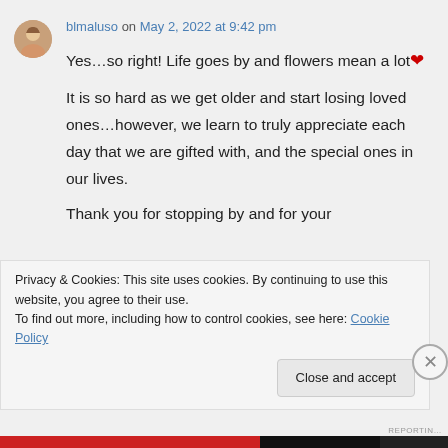blmaluso on May 2, 2022 at 9:42 pm
Yes...so right! Life goes by and flowers mean a lot❤ It is so hard as we get older and start losing loved ones...however, we learn to truly appreciate each day that we are gifted with, and the special ones in our lives. Thank you for stopping by and for your
Privacy & Cookies: This site uses cookies. By continuing to use this website, you agree to their use.
To find out more, including how to control cookies, see here: Cookie Policy
Close and accept